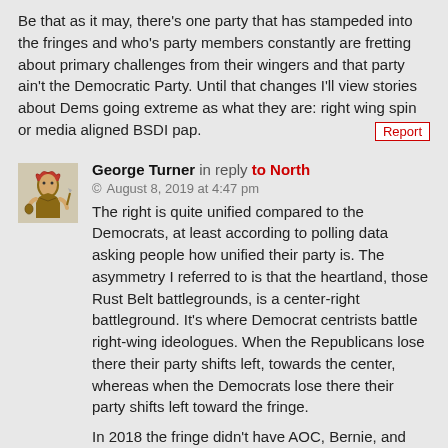Be that as it may, there's one party that has stampeded into the fringes and who's party members constantly are fretting about primary challenges from their wingers and that party ain't the Democratic Party. Until that changes I'll view stories about Dems going extreme as what they are: right wing spin or media aligned BSDI pap.
Report
George Turner in reply to North
© August 8, 2019 at 4:47 pm
The right is quite unified compared to the Democrats, at least according to polling data asking people how unified their party is. The asymmetry I referred to is that the heartland, those Rust Belt battlegrounds, is a center-right battleground. It's where Democrat centrists battle right-wing ideologues. When the Republicans lose there their party shifts left, towards the center, whereas when the Democrats lose there their party shifts left toward the fringe.
In 2018 the fringe didn't have AOC, Bernie, and Warren in front, and the Democrats who flipped seats were mostly centrists. The current progressive stampede might undo all that.